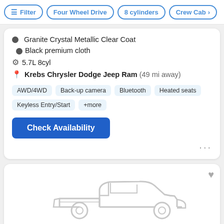Filter | Four Wheel Drive | 8 cylinders | Crew Cab
Granite Crystal Metallic Clear Coat · Black premium cloth
5.7L 8cyl
Krebs Chrysler Dodge Jeep Ram (49 mi away)
AWD/4WD · Back-up camera · Bluetooth · Heated seats · Keyless Entry/Start · +more
Check Availability
[Figure (illustration): Placeholder silhouette outline of a pickup truck in light gray lines on white background]